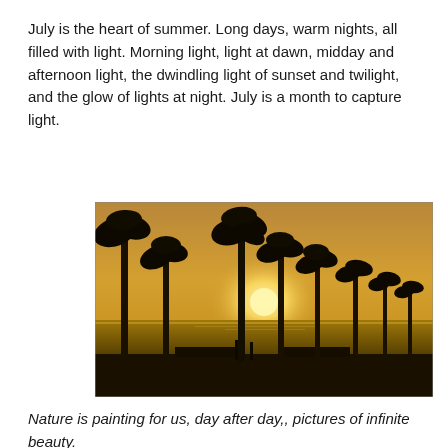July is the heart of summer. Long days, warm nights, all filled with light. Morning light, light at dawn, midday and afternoon light, the dwindling light of sunset and twilight, and the glow of lights at night. July is a month to capture light.
[Figure (photo): Silhouette photograph of tall palm trees along a coastal boardwalk at golden sunset, with the sun low on the horizon over the ocean, casting a warm amber glow across the sky and water.]
Nature is painting for us, day after day,, pictures of infinite beauty.